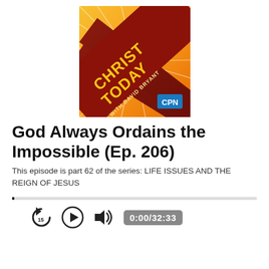[Figure (logo): Christ Today with David Bryant podcast logo. Square image with red banner diagonally across orange/yellow sunburst background. Text reads CHRIST TODAY WITH DAVID BRYANT. CPN badge in bottom right corner.]
God Always Ordains the Impossible (Ep. 206)
This episode is part 62 of the series: LIFE ISSUES AND THE REIGN OF JESUS
[Figure (screenshot): Audio player controls showing a progress bar at 0, rewind 15 seconds button, play button, volume button, and time display showing 0:00/32:33]